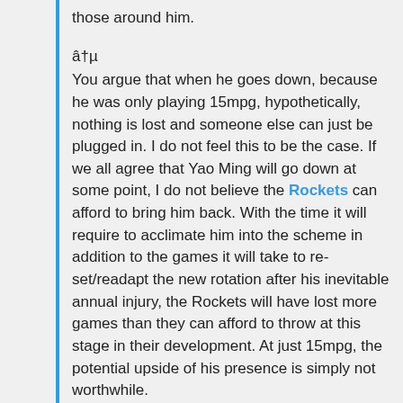those around him.
â†µ
You argue that when he goes down, because he was only playing 15mpg, hypothetically, nothing is lost and someone else can just be plugged in. I do not feel this to be the case. If we all agree that Yao Ming will go down at some point, I do not believe the Rockets can afford to bring him back. With the time it will require to acclimate him into the scheme in addition to the games it will take to re-set/readapt the new rotation after his inevitable annual injury, the Rockets will have lost more games than they can afford to throw at this stage in their development. At just 15mpg, the potential upside of his presence is simply not worthwhile.
â†µ